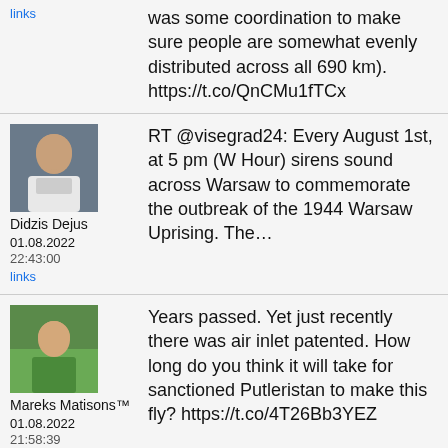links
was some coordination to make sure people are somewhat evenly distributed across all 690 km). https://t.co/QnCMu1fTCx
Didzis Dejus 01.08.2022 22:43:00 links
RT @visegrad24: Every August 1st, at 5 pm (W Hour) sirens sound across Warsaw to commemorate the outbreak of the 1944 Warsaw Uprising. The...
Mareks Matisons™ 01.08.2022 21:58:39 links
Years passed. Yet just recently there was air inlet patented. How long do you think it will take for sanctioned Putleristan to make this fly? https://t.co/4T26Bb3YEZ
[Figure (photo): Partial avatar of a person at bottom of page]